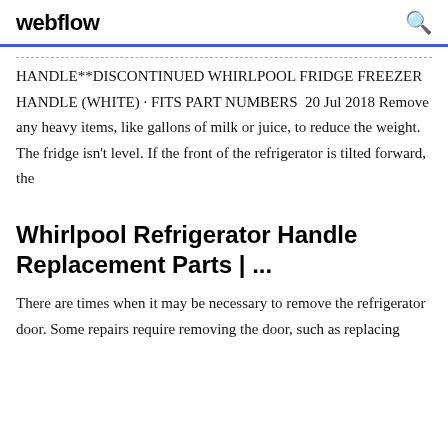webflow
HANDLE**DISCONTINUED WHIRLPOOL FRIDGE FREEZER HANDLE (WHITE) · FITS PART NUMBERS  20 Jul 2018 Remove any heavy items, like gallons of milk or juice, to reduce the weight. The fridge isn't level. If the front of the refrigerator is tilted forward, the
Whirlpool Refrigerator Handle Replacement Parts | ...
There are times when it may be necessary to remove the refrigerator door. Some repairs require removing the door, such as replacing